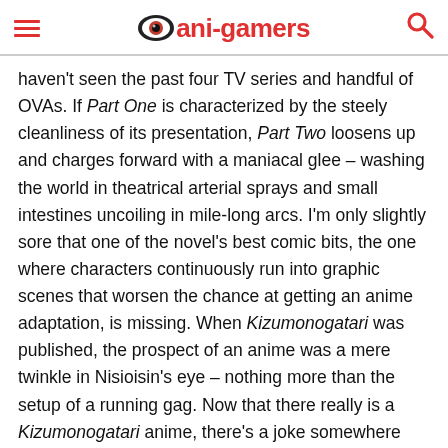ani-gamers
haven't seen the past four TV series and handful of OVAs. If Part One is characterized by the steely cleanliness of its presentation, Part Two loosens up and charges forward with a maniacal glee – washing the world in theatrical arterial sprays and small intestines uncoiling in mile-long arcs. I'm only slightly sore that one of the novel's best comic bits, the one where characters continuously run into graphic scenes that worsen the chance at getting an anime adaptation, is missing. When Kizumonogatari was published, the prospect of an anime was a mere twinkle in Nisioisin's eye – nothing more than the setup of a running gag. Now that there really is a Kizumonogatari anime, there's a joke somewhere here that's unfortunately nothing more than a missed opportunity now.